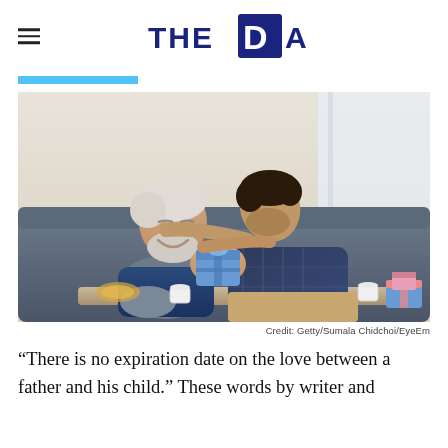THE DAD
[Figure (photo): An older man with white hair and beard and a younger man with dark hair sitting on a couch together, smiling and holding a wrapped gift box. They have their arms around each other in a warm embrace.]
Credit: Getty/Sumala Chidchoi/EyeEm
“There is no expiration date on the love between a father and his child.” These words by writer and Hardie Barseonfamouslyif William...